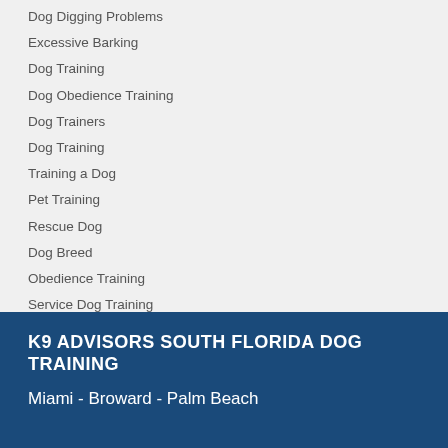Dog Digging Problems
Excessive Barking
Dog Training
Dog Obedience Training
Dog Trainers
Dog Training
Training a Dog
Pet Training
Rescue Dog
Dog Breed
Obedience Training
Service Dog Training
K9 ADVISORS SOUTH FLORIDA DOG TRAINING
Miami - Broward - Palm Beach